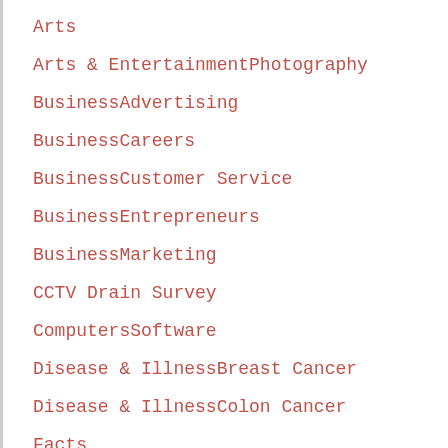Arts
Arts & EntertainmentPhotography
BusinessAdvertising
BusinessCareers
BusinessCustomer Service
BusinessEntrepreneurs
BusinessMarketing
CCTV Drain Survey
ComputersSoftware
Disease & IllnessBreast Cancer
Disease & IllnessColon Cancer
Facts
Fashion